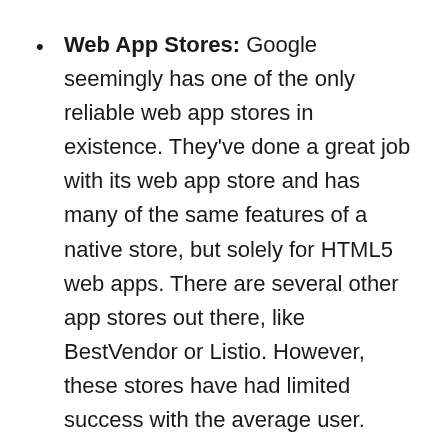Web App Stores: Google seemingly has one of the only reliable web app stores in existence. They've done a great job with its web app store and has many of the same features of a native store, but solely for HTML5 web apps. There are several other app stores out there, like BestVendor or Listio. However, these stores have had limited success with the average user.
Marketing Sites: Web apps are perfect for marketing sites as they can sign up and go straight to the app, no need to be